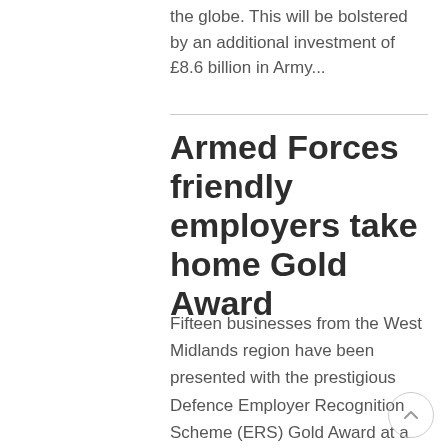the globe. This will be bolstered by an additional investment of £8.6 billion in Army...
Armed Forces friendly employers take home Gold Award
Fifteen businesses from the West Midlands region have been presented with the prestigious Defence Employer Recognition Scheme (ERS) Gold Award at a special ceremony in Cardiff. The joint regional event held on 17th November at HMS CAMBRIA saw employers from Wales, West Midlands and...